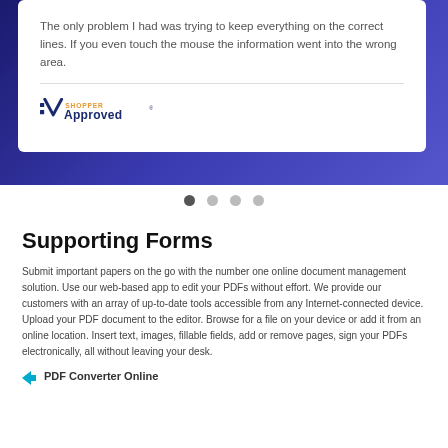The only problem I had was trying to keep everything on the correct lines. If you even touch the mouse the information went into the wrong area.
[Figure (logo): Shopper Approved logo with checkmark and orange/dark blue text]
[Figure (other): Carousel navigation dots, four dots with first one active/dark]
Supporting Forms
Submit important papers on the go with the number one online document management solution. Use our web-based app to edit your PDFs without effort. We provide our customers with an array of up-to-date tools accessible from any Internet-connected device. Upload your PDF document to the editor. Browse for a file on your device or add it from an online location. Insert text, images, fillable fields, add or remove pages, sign your PDFs electronically, all without leaving your desk.
PDF Converter Online